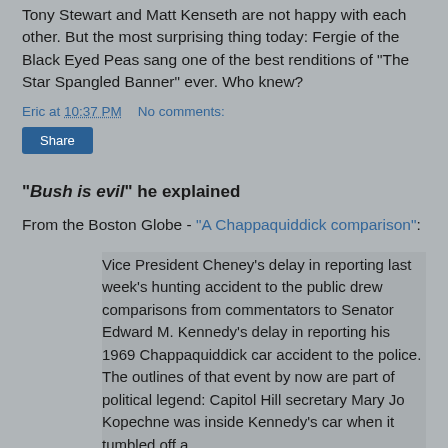Tony Stewart and Matt Kenseth are not happy with each other. But the most surprising thing today: Fergie of the Black Eyed Peas sang one of the best renditions of “The Star Spangled Banner” ever. Who knew?
Eric at 10:37 PM   No comments:
Share
“Bush is evil” he explained
From the Boston Globe - “A Chappaquiddick comparison”:
Vice President Cheney's delay in reporting last week's hunting accident to the public drew comparisons from commentators to Senator Edward M. Kennedy's delay in reporting his 1969 Chappaquiddick car accident to the police. The outlines of that event by now are part of political legend: Capitol Hill secretary Mary Jo Kopechne was inside Kennedy's car when it tumbled off a